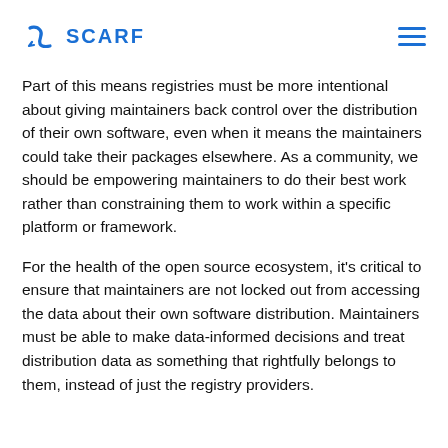SCARF
Part of this means registries must be more intentional about giving maintainers back control over the distribution of their own software, even when it means the maintainers could take their packages elsewhere. As a community, we should be empowering maintainers to do their best work rather than constraining them to work within a specific  platform or framework.
For the health of the open source ecosystem, it's critical to ensure that maintainers are not locked out from accessing the data about their own software distribution. Maintainers must be able to make data-informed decisions and treat distribution data as something that rightfully belongs to them, instead of just the registry providers.